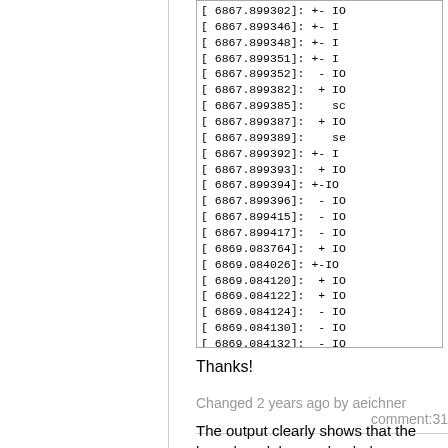[Figure (screenshot): Terminal/kernel log output showing lines with timestamps like [ 6867.899346] through [ 6869.084137] with +-, +, - prefixes and IO labels, partially cropped on right side]
Thanks!
Changed 2 years ago by aeichner   comment:31
The output clearly shows that the kernel modules are loaded, so